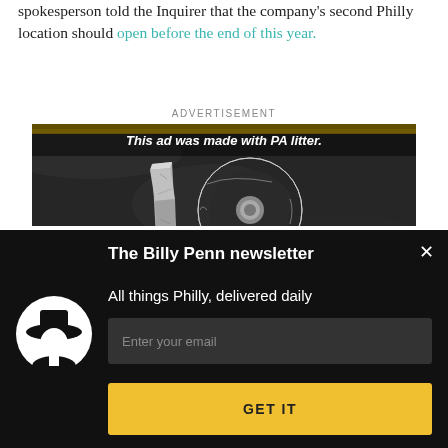spokesperson told the Inquirer that the company's second Philly location should open before the end of this year.
ADVERTISEMENT
[Figure (photo): Advertisement image showing crumpled metallic letters reading '10' on dark asphalt, with text overlay: 'This ad was made with PA litter.']
The Billy Penn newsletter
All things Philly, delivered daily
[Figure (logo): Billy Penn mascot logo: white silhouette of a figure wearing a wide-brimmed hat inside a white circle on black background]
Enter your email
GET IT